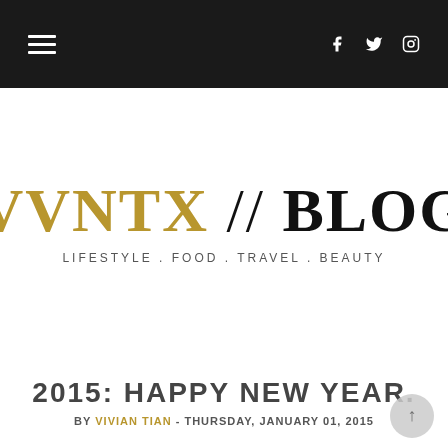VVNTX // BLOG navigation bar with hamburger menu and social icons (Facebook, Twitter, Instagram)
VVNTX // BLOG
LIFESTYLE . FOOD . TRAVEL . BEAUTY
2015: HAPPY NEW YEAR.
BY VIVIAN TIAN - THURSDAY, JANUARY 01, 2015